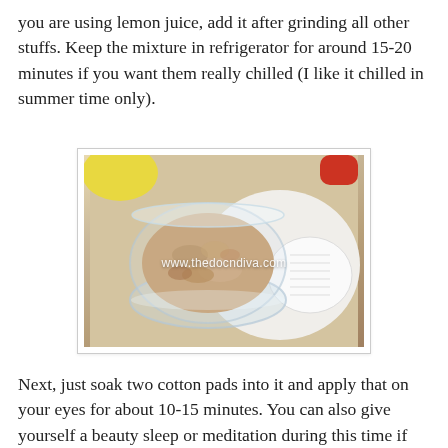you are using lemon juice, add it after grinding all other stuffs. Keep the mixture in refrigerator for around 15-20 minutes if you want them really chilled (I like it chilled in summer time only).
[Figure (photo): A glass bowl containing a ground paste/mixture (likely onion or potato based skin care pack), placed on a white plate. A lemon and red tomato are visible in the background. Watermark reads www.thedocndiva.com]
Next, just soak two cotton pads into it and apply that on your eyes for about 10-15 minutes. You can also give yourself a beauty sleep or meditation during this time if you want. I use this pack usually twice a week or even every alternate day if I am going through really stressful days. Just make the